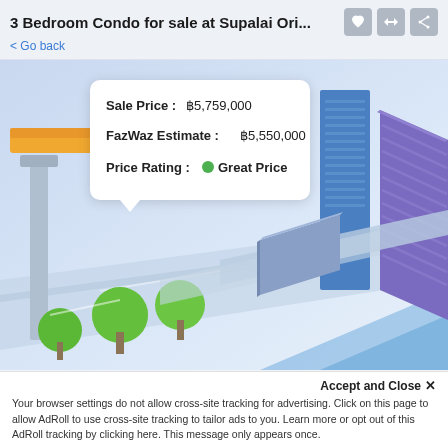3 Bedroom Condo for sale at Supalai Ori... < Go back
[Figure (illustration): Isometric illustration of a city block with buildings, trees, and roads. A white popup card shows Sale Price: ฿5,759,000, FazWaz Estimate: ฿5,550,000, Price Rating: Great Price (green dot).]
Do you own a property at Supalai Oriental Sukhumvit 39?
Find out how much your property is worth and start your listing for free.
Accept and Close ✕ Your browser settings do not allow cross-site tracking for advertising. Click on this page to allow AdRoll to use cross-site tracking to tailor ads to you. Learn more or opt out of this AdRoll tracking by clicking here. This message only appears once.